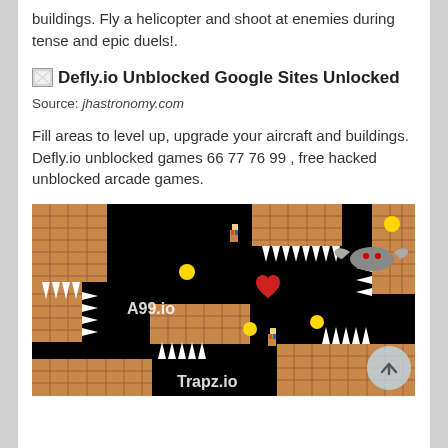buildings. Fly a helicopter and shoot at enemies during tense and epic duels!.
[Figure (screenshot): Broken image placeholder with alt text: Defly.io Unblocked Google Sites Unlocked]
Source: jhastronomy.com
Fill areas to level up, upgrade your aircraft and buildings. Defly.io unblocked games 66 77 76 99 , free hacked unblocked arcade games.
[Figure (screenshot): Game screenshot showing a dark cave/dungeon platformer game with brick walls, spikes, a bat enemy, yellow coins, and a red heart. Watermarks show A99.io and Trapz.io]